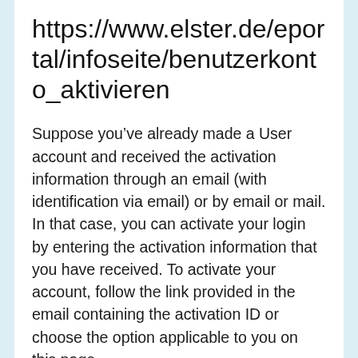https://www.elster.de/eportal/infoseite/benutzerkonto_aktivieren
Suppose you’ve already made a User account and received the activation information through an email (with identification via email) or by email or mail. In that case, you can activate your login by entering the activation information that you have received. To activate your account, follow the link provided in the email containing the activation ID or choose the option applicable to you on this page.